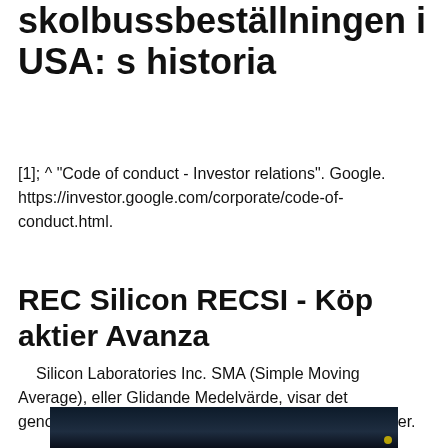skolbussbeställningen i USA: s historia
[1]; ^ "Code of conduct - Investor relations". Google. https://investor.google.com/corporate/code-of-conduct.html.
REC Silicon RECSI - Köp aktier Avanza
Silicon Laboratories Inc. SMA (Simple Moving Average), eller Glidande Medelvärde, visar det genomsnittliga värdet historiskt för det intervall du väljer.
[Figure (photo): Dark background image, possibly a nighttime or low-light photograph with a small yellow/gold circular light in the lower right area.]